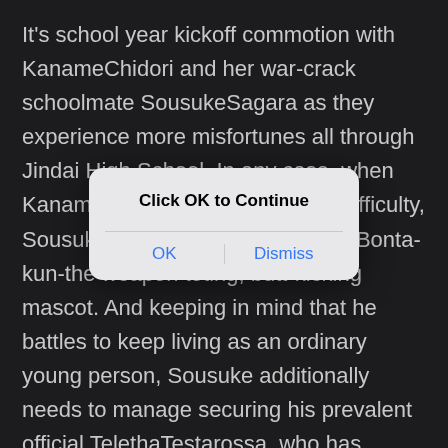It's school year kickoff commotion with KanameChidori and her war-crack schoolmate SousukeSagara as they experience more misfortunes all through Jindai High School. In any case, when Kaname falls into some genuine difficulty, Sousuke takes the appearance of Bonta-kun-the weapon toting, butt-kicking mascot. And keeping in mind that he battles to keep living as an ordinary young person, Sousuke additionally needs to manage securing his prevalent official TelethaTestarossa, who has chosen to get away from Mithril and put in a little while as his and Kaname's colleague.
[Figure (screenshot): iOS-style dialog box overlay with title 'Click OK to Continue' and two buttons: 'OK' and 'Dismiss']